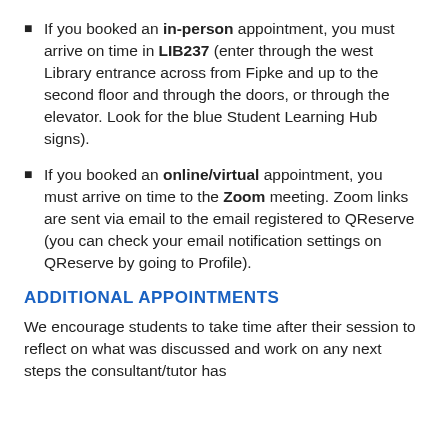If you booked an in-person appointment, you must arrive on time in LIB237 (enter through the west Library entrance across from Fipke and up to the second floor and through the doors, or through the elevator. Look for the blue Student Learning Hub signs).
If you booked an online/virtual appointment, you must arrive on time to the Zoom meeting. Zoom links are sent via email to the email registered to QReserve (you can check your email notification settings on QReserve by going to Profile).
ADDITIONAL APPOINTMENTS
We encourage students to take time after their session to reflect on what was discussed and work on any next steps the consultant/tutor has